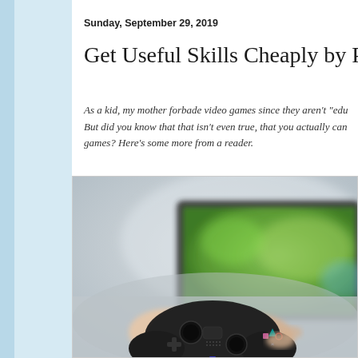Sunday, September 29, 2019
Get Useful Skills Cheaply by Playing V
As a kid, my mother forbade video games since they aren't "edu... But did you know that that isn't even true, that you actually can... games? Here's some more from a reader.
[Figure (photo): Person holding a black PlayStation controller in front of a blurred TV screen showing a green video game scene]